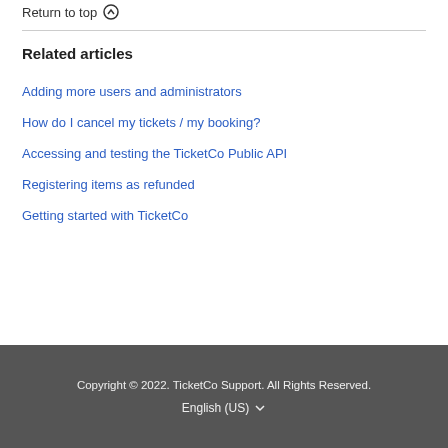Return to top ↑
Related articles
Adding more users and administrators
How do I cancel my tickets / my booking?
Accessing and testing the TicketCo Public API
Registering items as refunded
Getting started with TicketCo
Copyright © 2022. TicketCo Support. All Rights Reserved. English (US)